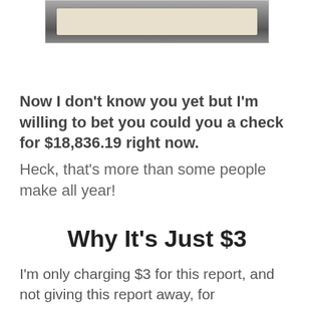[Figure (photo): A photo showing a hand holding a check]
Now I don't know you yet but I'm willing to bet you could you a check for $18,836.19 right now. Heck, that's more than some people make all year!
Why It's Just $3
I'm only charging $3 for this report, and not giving this report away, for